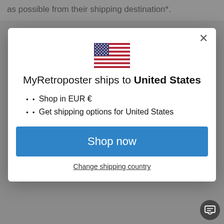as possible from their shipping destination*.
[Figure (screenshot): A modal dialog overlay on a website. Contains a US flag icon, heading 'MyRetroposter ships to United States', bullet points listing 'Shop in EUR €' and 'Get shipping options for United States', a blue 'Shop now' button, and a 'Change shipping country' link. Background shows partial website content.]
MyRetroposter ships to United States
Shop in EUR €
Get shipping options for United States
Shop now
Change shipping country